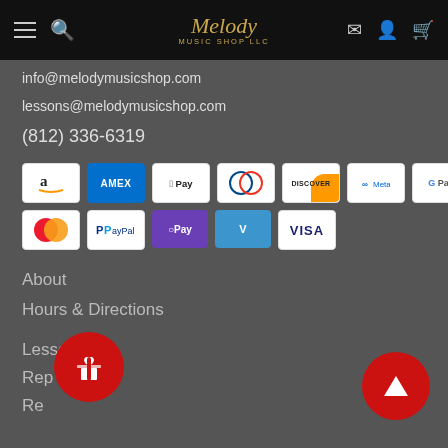Melody Music Shop LLC
info@melodymusicshop.com
lessons@melodymusicshop.com
(812) 336-6319
[Figure (infographic): Payment method icons: Amazon, Amex, Apple Pay, Diners Club, Discover, Meta Pay, Google Pay (row 1); Mastercard, PayPal, OPay, Venmo, Visa (row 2)]
About
Hours & Directions
Lessons
Rep...
Re...